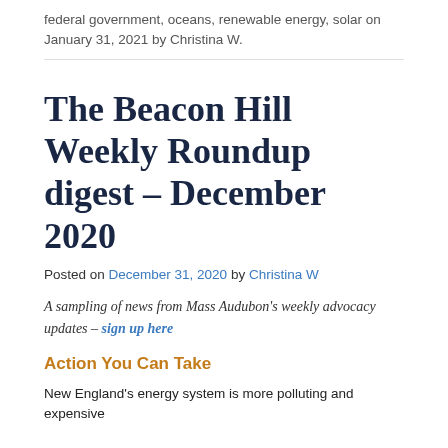federal government, oceans, renewable energy, solar on January 31, 2021 by Christina W.
The Beacon Hill Weekly Roundup digest – December 2020
Posted on December 31, 2020 by Christina W
A sampling of news from Mass Audubon's weekly advocacy updates – sign up here
Action You Can Take
New England's energy system is more polluting and expensive...